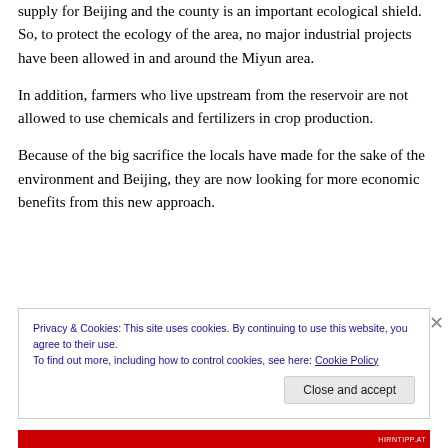supply for Beijing and the county is an important ecological shield. So, to protect the ecology of the area, no major industrial projects have been allowed in and around the Miyun area.
In addition, farmers who live upstream from the reservoir are not allowed to use chemicals and fertilizers in crop production.
Because of the big sacrifice the locals have made for the sake of the environment and Beijing, they are now looking for more economic benefits from this new approach.
Privacy & Cookies: This site uses cookies. By continuing to use this website, you agree to their use.
To find out more, including how to control cookies, see here: Cookie Policy